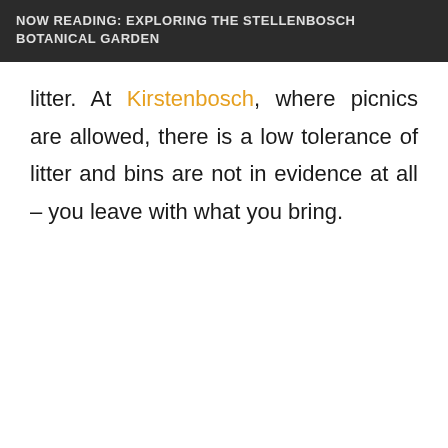NOW READING: EXPLORING THE STELLENBOSCH BOTANICAL GARDEN
litter. At Kirstenbosch, where picnics are allowed, there is a low tolerance of litter and bins are not in evidence at all – you leave with what you bring.